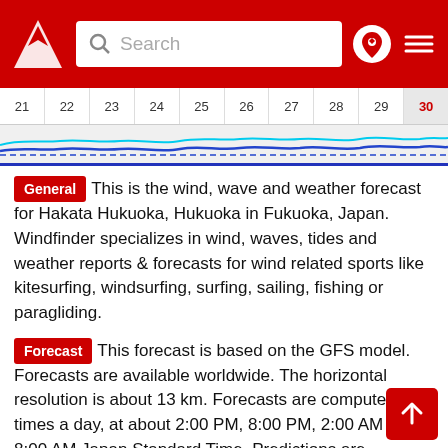Search [search bar] [location pin] [menu]
[Figure (continuous-plot): Horizontal calendar strip showing days 21 through 30, with day 30 highlighted in red on grey background. Below it a wave/wind forecast chart with blue wavy lines on light grey background.]
General This is the wind, wave and weather forecast for Hakata Hukuoka, Hukuoka in Fukuoka, Japan. Windfinder specializes in wind, waves, tides and weather reports & forecasts for wind related sports like kitesurfing, windsurfing, surfing, sailing, fishing or paragliding.
Forecast This forecast is based on the GFS model. Forecasts are available worldwide. The horizontal resolution is about 13 km. Forecasts are computed 4 times a day, at about 2:00 PM, 8:00 PM, 2:00 AM and 8:00 AM Japan Standard Time. Predictions are available in time steps of 3 hours for up to 10 days into the future. The arrows point in the direction in which the wind is blowing.
Check the wind forecast for Hakata Hukuoka, Hukuoka when you search for the best travel destinations for your kiteboarding, windsurfing or sailing vacations in Japan. Or use our wind forecast to find the wind speed today in Hakata Hukuoka, Hukuoka or to